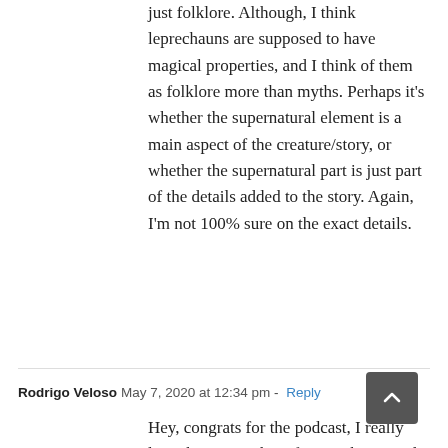just folklore. Although, I think leprechauns are supposed to have magical properties, and I think of them as folklore more than myths. Perhaps it's whether the supernatural element is a main aspect of the creature/story, or whether the supernatural part is just part of the details added to the story. Again, I'm not 100% sure on the exact details.
Rodrigo Veloso  May 7, 2020 at 12:34 pm - Reply
Hey, congrats for the podcast, I really love them, I got here from Habitica and I'm really glad!